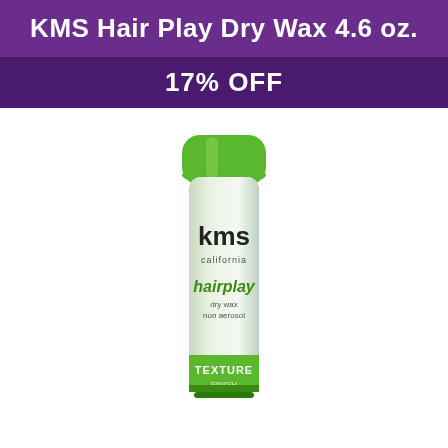KMS Hair Play Dry Wax 4.6 oz.
17% OFF
[Figure (photo): KMS California Hairplay Dry Wax aerosol can with green cap and white body, showing kms california hairplay dry wax texture branding]